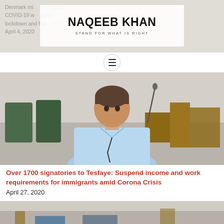NAQEEB KHAN — STAND FOR WHAT IS RIGHT
Denmark mi... ettle amid COVID-19 w... nomic lockdown and fea... April 4, 2020
[Figure (photo): Man in light blue shirt standing in what appears to be a parliament chamber with green seats and wooden furniture in the background]
Over 1700 signatories to Tesfaye: Suspend income and work requirements for immigrants amid Corona Crisis
April 27, 2020
[Figure (photo): Partial view of another person, cropped at bottom of page]